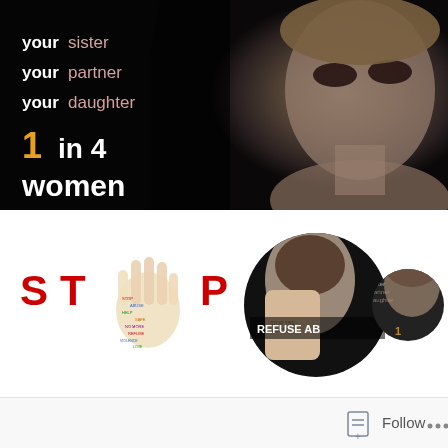[Figure (photo): Black background banner showing a distressed woman with smeared makeup on the right side, with text overlay on the left reading 'your sister / your partner / your daughter' and '1 in 4 women']
[Figure (infographic): White section showing a STOP logo with a hand shape made of colorful text, flanked by two circular cropped photos: one of a woman with palm raised (hand showing STOP THE ABUSE text) with label 'REFUSE AB[USE]', and one cropped circle of the same distressed woman from top banner]
[Figure (screenshot): Bottom bar with a Follow button (with page/document icon) and three-dot menu on white/light gray background]